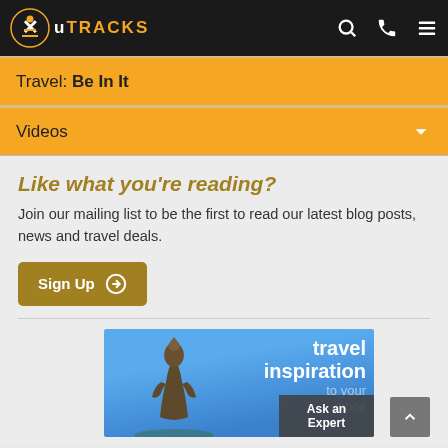uTracks
Travel: Be In It
Videos
Like what you're reading?
Join our mailing list to be the first to read our latest blog posts, news and travel deals.
Sign Up
[Figure (photo): Travel inspiration banner with a monument/statue silhouette against blue sky, with text 'travel inspiration to your inbox' and 'Ask an Expert' overlay]